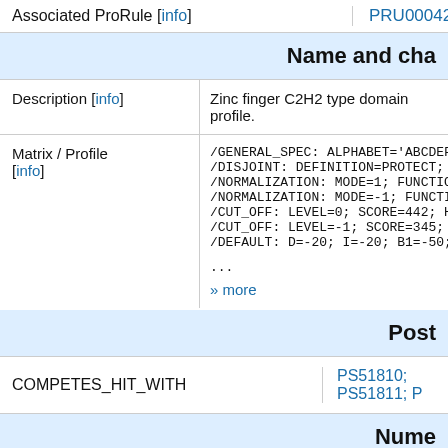Associated ProRule [info]  PRU00042
Name and cha
| Description [info] | Zinc finger C2H2 type domain profile. |
| Matrix / Profile [info] | /GENERAL_SPEC: ALPHABET='ABCDEFGHIKLMN
/DISJOINT: DEFINITION=PROTECT; N1=3; N
/NORMALIZATION: MODE=1; FUNCTION=LINEA
/NORMALIZATION: MODE=-1; FUNCTION=LINE
/CUT_OFF: LEVEL=0; SCORE=442; H_SCORE=
/CUT_OFF: LEVEL=-1; SCORE=345; H_SCORE
/DEFAULT: D=-20; I=-20; B1=-50; E1=-50

...
» more |
Post
COMPETES_HIT_WITH   PS51810; PS51811; P
Nume